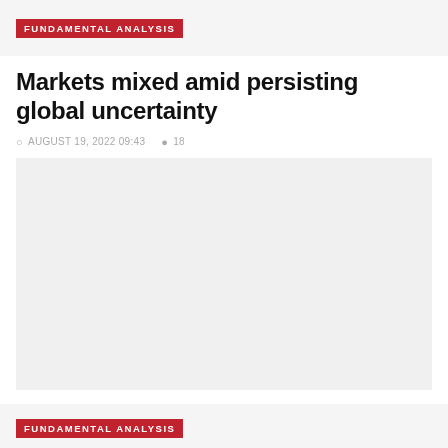FUNDAMENTAL ANALYSIS
Markets mixed amid persisting global uncertainty
AUGUST 19, 2022 09:43   18
[Figure (photo): Large image placeholder area with light gray background]
FUNDAMENTAL ANALYSIS